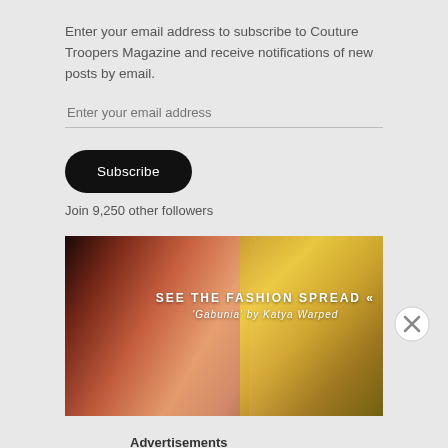Enter your email address to subscribe to Couture Troopers Magazine and receive notifications of new posts by email.
Enter your email address
Subscribe
Join 9,250 other followers
[Figure (photo): Fashion spread banner image showing a close-up of a face with gold jewelry, overlaid with text 'SEE THE FASHION SPREAD « Gabunia by Katya Warped']
Advertisements
[Figure (screenshot): DuckDuckGo advertisement banner: 'Search, browse, and email with more privacy. All in One Free App' with DuckDuckGo logo on orange/grey background]